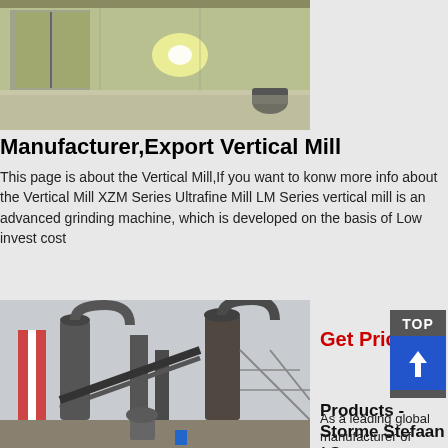[Figure (photo): Interior of an industrial building or factory, showing large doors, fluorescent ceiling lights, and a bright light source near the center.]
Manufacturer,Export Vertical Mill
This page is about the Vertical Mill,If you want to konw more info about the Vertical Mill XZM Series Ultrafine Mill LM Series vertical mill is an advanced grinding machine, which is developed on the basis of Low invest cost
Get Price
[Figure (photo): Large industrial vertical mill machinery with large cylindrical columns, conveyor systems, and piping structures outdoors at a manufacturing facility.]
Products - Storme Stefaan / Storme
As a leading global manufacturer of crushing, grinding